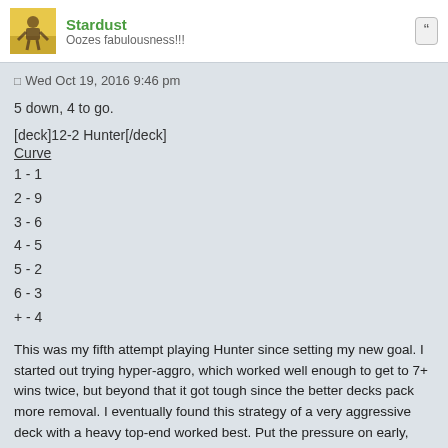Stardust — Oozes fabulousness!!!
Wed Oct 19, 2016 9:46 pm
5 down, 4 to go.
[deck]12-2 Hunter[/deck]
Curve
1 - 1
2 - 9
3 - 6
4 - 5
5 - 2
6 - 3
+ - 4
This was my fifth attempt playing Hunter since setting my new goal. I started out trying hyper-aggro, which worked well enough to get to 7+ wins twice, but beyond that it got tough since the better decks pack more removal. I eventually found this strategy of a very aggressive deck with a heavy top-end worked best. Put the pressure on early, then drop a bomb they can't easily deal with (and can't Flamestrike). My fourth Hunter attempt looked very similar to this and got me to 10 wins.